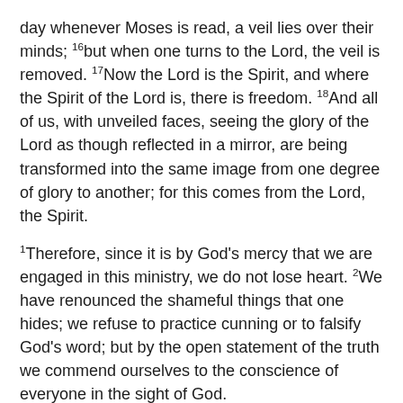day whenever Moses is read, a veil lies over their minds; 16but when one turns to the Lord, the veil is removed. 17Now the Lord is the Spirit, and where the Spirit of the Lord is, there is freedom. 18And all of us, with unveiled faces, seeing the glory of the Lord as though reflected in a mirror, are being transformed into the same image from one degree of glory to another; for this comes from the Lord, the Spirit.
1Therefore, since it is by God's mercy that we are engaged in this ministry, we do not lose heart. 2We have renounced the shameful things that one hides; we refuse to practice cunning or to falsify God's word; but by the open statement of the truth we commend ourselves to the conscience of everyone in the sight of God.
Gospel Luke 9:28-36 (37-43)
28Now about eight days after these sayings Jesus took with him